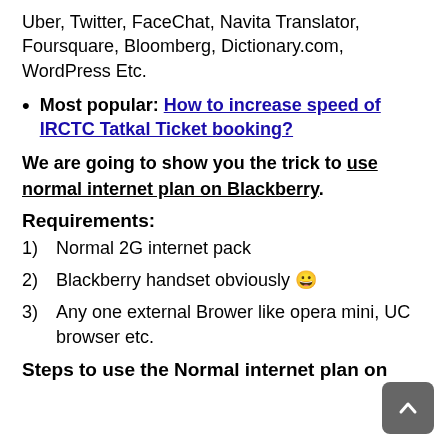Uber, Twitter, FaceChat, Navita Translator, Foursquare, Bloomberg, Dictionary.com, WordPress Etc.
Most popular: How to increase speed of IRCTC Tatkal Ticket booking?
We are going to show you the trick to use normal internet plan on Blackberry.
Requirements:
1)   Normal 2G internet pack
2)   Blackberry handset obviously 😀
3)   Any one external Brower like opera mini, UC browser etc.
Steps to use the Normal internet plan on